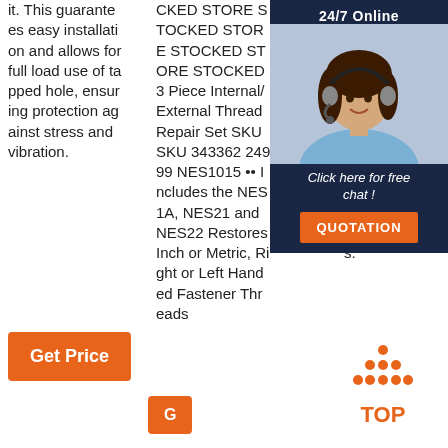it. This guarantees easy installation and allows for full load use of tapped hole, ensuring protection against stress and vibration.
CKED STORE STOCKED STORE STOCKED STORE STOCKED 3 Piece Internal/External Thread Repair Set SKU SKU 343362 24999 NES1015 •• Includes the NES1A, NES21 and NES22 Restores Inch or Metric, Right or Left Handed Fastener Threads
material. How it Works: A Keensert is a solid threaded bushing-style in aila d di ric a s.
[Figure (infographic): 24/7 Online chat box with agent photo, 'Click here for free chat!' text, and QUOTATION button]
Get Price
G (partial button)
[Figure (infographic): TOP back-to-top icon with orange dots arranged in triangle above TOP text]